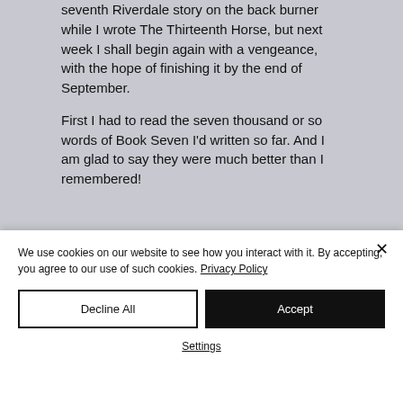seventh Riverdale story on the back burner while I wrote The Thirteenth Horse, but next week I shall begin again with a vengeance, with the hope of finishing it by the end of September.
First I had to read the seven thousand or so words of Book Seven I'd written so far. And I am glad to say they were much better than I remembered!
[Figure (photo): Dark image stripe with red gradient, partially visible at bottom of main content area]
We use cookies on our website to see how you interact with it. By accepting, you agree to our use of such cookies. Privacy Policy
Decline All
Accept
Settings